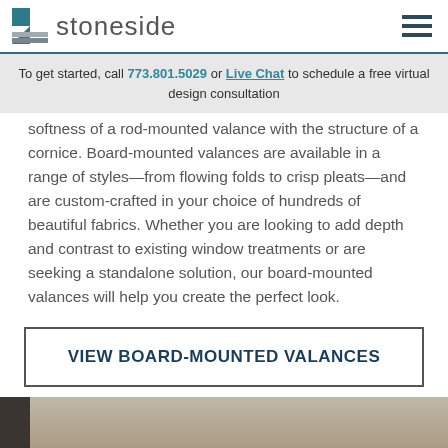stoneside
To get started, call 773.801.5029 or Live Chat to schedule a free virtual design consultation
softness of a rod-mounted valance with the structure of a cornice. Board-mounted valances are available in a range of styles—from flowing folds to crisp pleats—and are custom-crafted in your choice of hundreds of beautiful fabrics. Whether you are looking to add depth and contrast to existing window treatments or are seeking a standalone solution, our board-mounted valances will help you create the perfect look.
VIEW BOARD-MOUNTED VALANCES
[Figure (photo): Bottom edge of a room interior photo showing what appears to be a window treatment installation, partially cropped.]